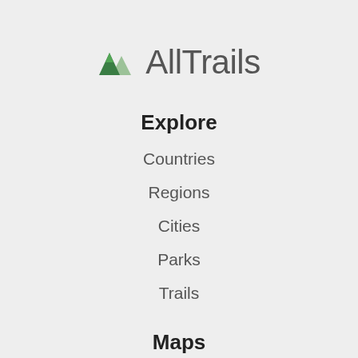[Figure (logo): AllTrails logo with green mountain/triangle icon and gray 'AllTrails' text]
Explore
Countries
Regions
Cities
Parks
Trails
Maps
My maps